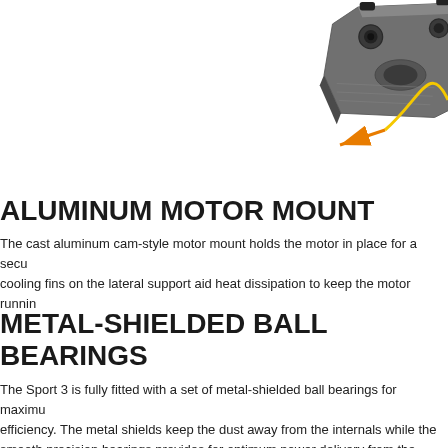[Figure (photo): Photograph of a cast aluminum cam-style motor mount (dark grey metallic component) shown from an angle, with an orange arrow and yellow curved line annotation pointing to the component, on a white background.]
ALUMINUM MOTOR MOUNT
The cast aluminum cam-style motor mount holds the motor in place for a secure cooling fins on the lateral support aid heat dissipation to keep the motor running
METAL-SHIELDED BALL BEARINGS
The Sport 3 is fully fitted with a set of metal-shielded ball bearings for maximum efficiency. The metal shields keep the dust away from the internals while the smooth precision bearings provides for optimum power delivery from the power source out into the driveline.